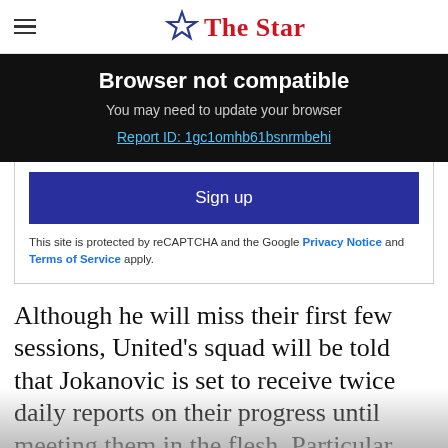The Star
Browser not compatible
You may need to update your browser
Report ID: 1gc1omhb61bsnrmbehi
Sign up
This site is protected by reCAPTCHA and the Google Privacy Notice and Terms of Service apply.
Although he will miss their first few sessions, United's squad will be told that Jokanovic is set to receive twice daily reports on their progress until meeting them in the flesh. Particular